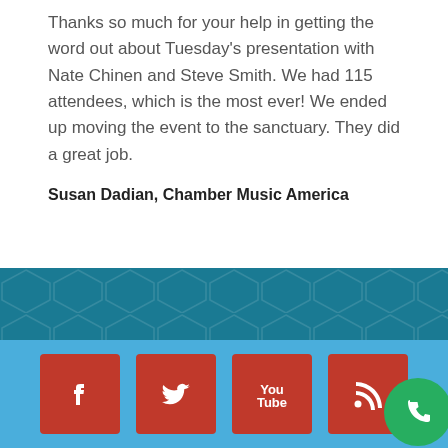Thanks so much for your help in getting the word out about Tuesday's presentation with Nate Chinen and Steve Smith. We had 115 attendees, which is the most ever! We ended up moving the event to the sanctuary. They did a great job.
Susan Dadian, Chamber Music America
[Figure (other): Teal decorative band with hexagon pattern background]
[Figure (other): Blue footer band with four red social media icons: Facebook, Twitter, YouTube, RSS feed. A green phone call button overlaps the bottom-right corner.]